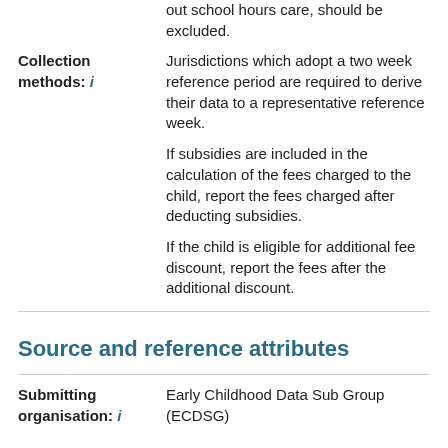out school hours care, should be excluded.
Collection methods: i
Jurisdictions which adopt a two week reference period are required to derive their data to a representative reference week.

If subsidies are included in the calculation of the fees charged to the child, report the fees charged after deducting subsidies.

If the child is eligible for additional fee discount, report the fees after the additional discount.
Source and reference attributes
Submitting organisation: i
Early Childhood Data Sub Group (ECDSG)